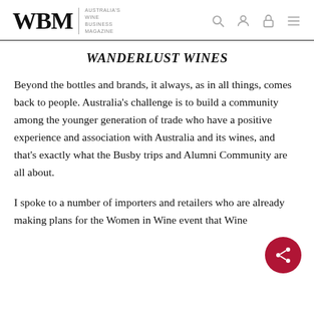WBM | AUSTRALIA'S WINE BUSINESS MAGAZINE
WANDERLUST WINES
Beyond the bottles and brands, it always, as in all things, comes back to people. Australia's challenge is to build a community among the younger generation of trade who have a positive experience and association with Australia and its wines, and that's exactly what the Busby trips and Alumni Community are all about.
I spoke to a number of importers and retailers who are already making plans for the Women in Wine event that Wine...